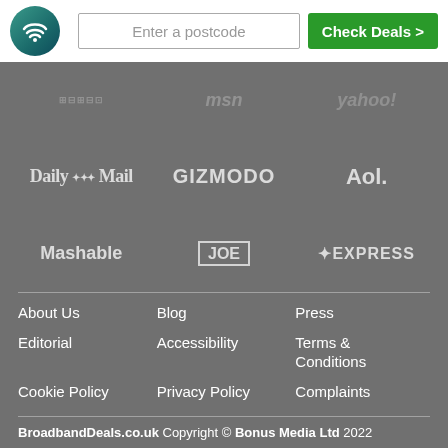[Figure (logo): Broadband Deals wifi logo circle teal]
Enter a postcode
Check Deals >
[Figure (photo): Row of media partner logos: MSN, Yahoo (partially visible top row); Daily Mail, GIZMODO, Aol.; Mashable, JOE, EXPRESS]
About Us
Blog
Press
Editorial
Accessibility
Terms & Conditions
Cookie Policy
Privacy Policy
Complaints
Contact Us
BroadbandDeals.co.uk Copyright © Bonus Media Ltd 2022